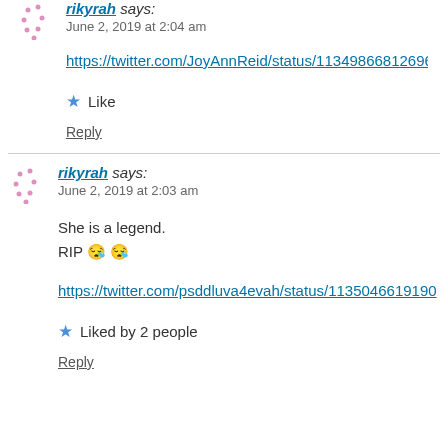rikyrah says: June 2, 2019 at 2:04 am
https://twitter.com/JoyAnnReid/status/11349866812696...
Like
Reply
rikyrah says: June 2, 2019 at 2:03 am
She is a legend.
RIP 😪 😪
https://twitter.com/psddluva4evah/status/113504661910...
Liked by 2 people
Reply